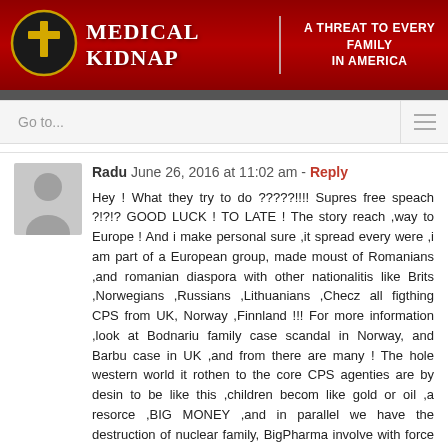MEDICAL KIDNAP | A THREAT TO EVERY FAMILY IN AMERICA
Go to...
Radu  June 26, 2016 at 11:02 am - Reply
Hey ! What they try to do ?????!!!! Supres free speach ?!?!? GOOD LUCK ! TO LATE ! The story reach ,way to Europe ! And i make personal sure ,it spread every were ,i am part of a European group, made moust of Romanians ,and romanian diaspora with other nationalitis like Brits ,Norwegians ,Russians ,Lithuanians ,Checz all figthing CPS from UK, Norway ,Finnland !!! For more information ,look at Bodnariu family case scandal in Norway, and Barbu case in UK ,and from there are many ! The hole western world it rothen to the core CPS agenties are by desin to be like this ,children becom like gold or oil ,a resorce ,BIG MONEY ,and in parallel we have the destruction of nuclear family, BigPharma involve with force vaccine ,force medication !!!! Well a war on family .... Butt we are legion becose ,we are MANYYYYY !!!!